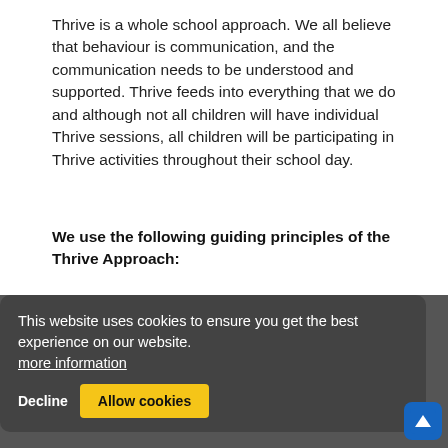Thrive is a whole school approach. We all believe that behaviour is communication, and the communication needs to be understood and supported. Thrive feeds into everything that we do and although not all children will have individual Thrive sessions, all children will be participating in Thrive activities throughout their school day.
We use the following guiding principles of the Thrive Approach:
This website uses cookies to ensure you get the best experience on our website. more information
Every child is a unique person, constantly developing and learning in different ways and at different rates, each with their own abilities, and potential to be fulfilled.
Children's healthy development, emotional well-being and learning are crucially dependent upon and promoted through, positive relationships.